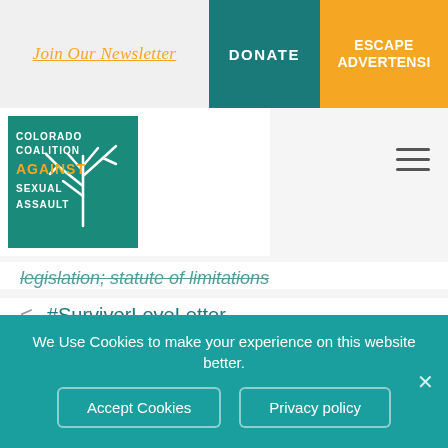Join Our Newsletter | DONATE | ESCAPE ADVERTENSI
[Figure (logo): Colorado Coalition Against Sexual Assault (CCASA) logo — teal square with white tree branch and text]
legislation; statute of limitations
< #SurvivorLoveLetter
> Advocate for Native American sexual assault victims earns national award
LEAVE A COMMENT
You must be logged in to post a comment.
We Use Cookies to make your experience on this website better.